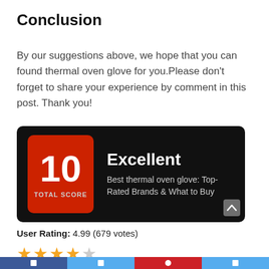Conclusion
By our suggestions above, we hope that you can found thermal oven glove for you.Please don’t forget to share your experience by comment in this post. Thank you!
[Figure (infographic): Score badge showing 10 TOTAL SCORE on a black background with 'Excellent' heading and subtitle 'Best thermal oven glove: Top-Rated Brands & What to Buy']
User Rating: 4.99 (679 votes)
[Figure (other): 4 filled orange stars and 1 empty star rating display]
[Figure (other): Bottom social sharing bar with icons for Facebook, Twitter, Pinterest, and another network]